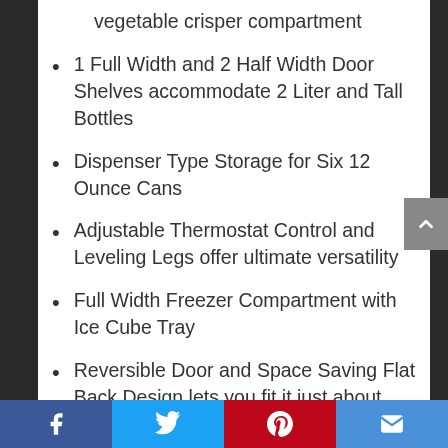vegetable crisper compartment
1 Full Width and 2 Half Width Door Shelves accommodate 2 Liter and Tall Bottles
Dispenser Type Storage for Six 12 Ounce Cans
Adjustable Thermostat Control and Leveling Legs offer ultimate versatility
Full Width Freezer Compartment with Ice Cube Tray
Reversible Door and Space Saving Flat Back Design lets you fit it just about anywhere